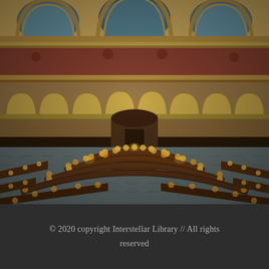[Figure (photo): Interior aerial view of an ornate grand library reading room (Library of Congress), showing concentric circular rows of reading desks with individual lamps glowing warmly, a central circular reference desk, elaborate multi-story Beaux-Arts architecture with arched windows, decorative columns, red and gold ornamentation, and a coffered ceiling visible at top.]
© 2020 copyright Interstellar Library // All rights reserved